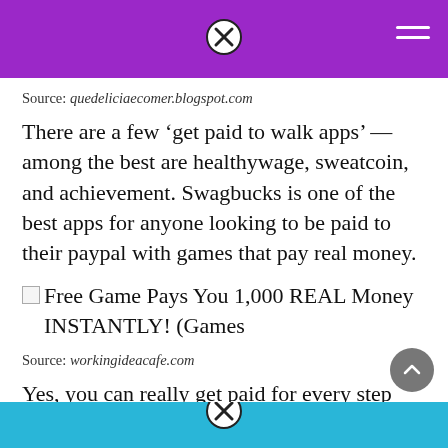Source: quedeliciaecomer.blogspot.com
There are a few ‘get paid to walk apps’ — among the best are healthywage, sweatcoin, and achievement. Swagbucks is one of the best apps for anyone looking to be paid to their paypal with games that pay real money.
[Figure (photo): Image with alt text: Free Game Pays You 1,000 REAL Money INSTANTLY! (Games]
Source: workingideacafe.com
Yes, you can really get paid for every step you take! “this app does what it says.